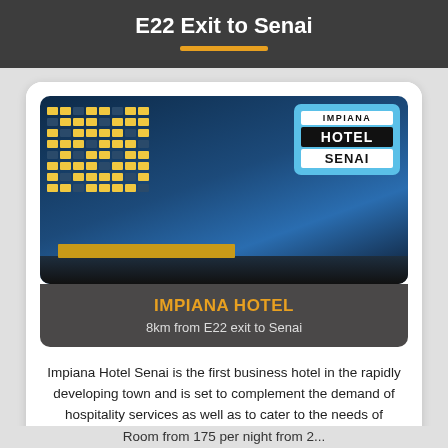E22 Exit to Senai
[Figure (photo): Exterior night photo of Impiana Hotel Senai, a tall multi-storey hotel building with illuminated windows and the Impiana Hotel Senai logo overlaid in the top-right corner of the image.]
IMPIANA HOTEL
8km from E22 exit to Senai
Impiana Hotel Senai is the first business hotel in the rapidly developing town and is set to complement the demand of hospitality services as well as to cater to the needs of business and leisure travellers.
...